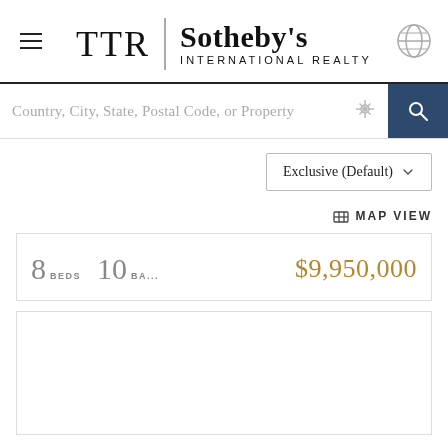[Figure (logo): TTR Sotheby's International Realty logo with hamburger menu and globe icon]
Country, City, State, Postal Code, or Property
Exclusive (Default)
MAP VIEW
8 BEDS  10 BA...  $9,950,000
[Figure (other): Empty property listing card placeholder]